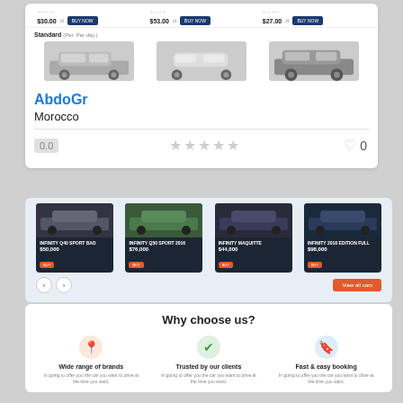[Figure (screenshot): Car rental website showing standard car listings row with three grayscale car images and price/buy buttons]
Standard (Per. Per day.)
[Figure (screenshot): Three standard cars shown in grayscale: compact, sedan, SUV]
AbdoGr
Morocco
0.0 ★★★★★  ♡ 0
[Figure (screenshot): Four car listing cards with dark background showing luxury cars with prices and orange buy buttons]
Why choose us?
Wide range of brands
Trusted by our clients
Fast & easy booking